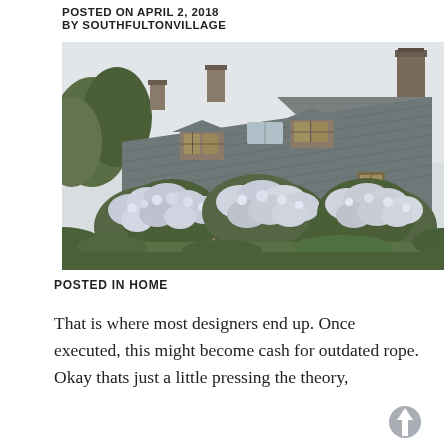POSTED ON APRIL 2, 2018
BY SOUTHFULTONVILLAGE
[Figure (photo): Stone cottage house with slate roof, dormer windows, chimneys, and large blooming white/blue hydrangea bushes in the foreground, surrounded by green garden.]
POSTED IN HOME
That is where most designers end up. Once executed, this might become cash for outdated rope. Okay thats just a little pressing the theory,